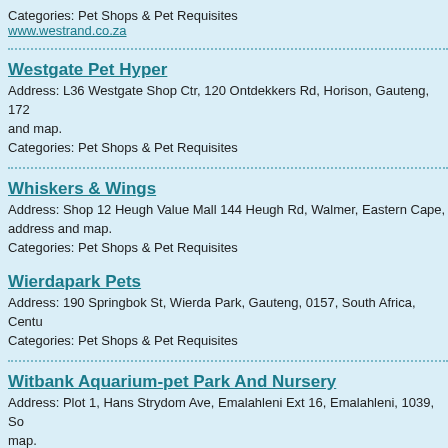Categories: Pet Shops & Pet Requisites
www.westrand.co.za
Westgate Pet Hyper
Address: L36 Westgate Shop Ctr, 120 Ontdekkers Rd, Horison, Gauteng, 172 and map.
Categories: Pet Shops & Pet Requisites
Whiskers & Wings
Address: Shop 12 Heugh Value Mall 144 Heugh Rd, Walmer, Eastern Cape, address and map.
Categories: Pet Shops & Pet Requisites
Wierdapark Pets
Address: 190 Springbok St, Wierda Park, Gauteng, 0157, South Africa, Centu
Categories: Pet Shops & Pet Requisites
Witbank Aquarium-pet Park And Nursery
Address: Plot 1, Hans Strydom Ave, Emalahleni Ext 16, Emalahleni, 1039, So map.
Categories: Pet Shops & Pet Requisites
Wonderboom Aquarium
Address: Braam Pretorius St, Wonderboom, Gauteng, 0182, South Africa, P